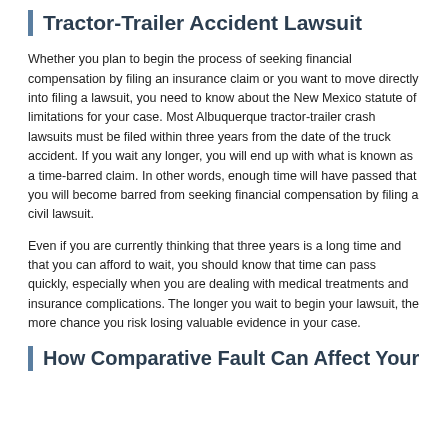Tractor-Trailer Accident Lawsuit
Whether you plan to begin the process of seeking financial compensation by filing an insurance claim or you want to move directly into filing a lawsuit, you need to know about the New Mexico statute of limitations for your case. Most Albuquerque tractor-trailer crash lawsuits must be filed within three years from the date of the truck accident. If you wait any longer, you will end up with what is known as a time-barred claim. In other words, enough time will have passed that you will become barred from seeking financial compensation by filing a civil lawsuit.
Even if you are currently thinking that three years is a long time and that you can afford to wait, you should know that time can pass quickly, especially when you are dealing with medical treatments and insurance complications. The longer you wait to begin your lawsuit, the more chance you risk losing valuable evidence in your case.
How Comparative Fault Can Affect Your